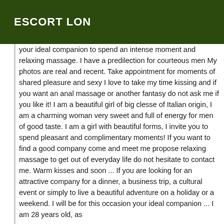ESCORT LON
your ideal companion to spend an intense moment and relaxing massage. I have a predilection for courteous men My photos are real and recent. Take appointment for moments of shared pleasure and sexy I love to take my time kissing and if you want an anal massage or another fantasy do not ask me if you like it! I am a beautiful girl of big clesse of Italian origin, I am a charming woman very sweet and full of energy for men of good taste. I am a girl with beautiful forms, I invite you to spend pleasant and complimentary moments! If you want to find a good company come and meet me propose relaxing massage to get out of everyday life do not hesitate to contact me. Warm kisses and soon ... If you are looking for an attractive company for a dinner, a business trip, a cultural event or simply to live a beautiful adventure on a holiday or a weekend. I will be for this occasion your ideal companion ... I am 28 years old, as